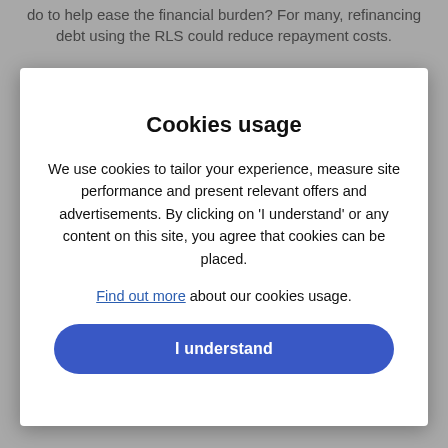do to help ease the financial burden? For many, refinancing debt using the RLS could reduce repayment costs.
Cookies usage
We use cookies to tailor your experience, measure site performance and present relevant offers and advertisements. By clicking on 'I understand' or any content on this site, you agree that cookies can be placed.
Find out more about our cookies usage.
I understand